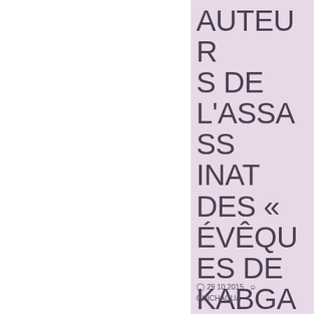AUTEURS DE L'ASSASSINAT DES « ÉVÊQUES DE KABGAYI » (2008-2009)
29 10 2015  GUICHAOUA